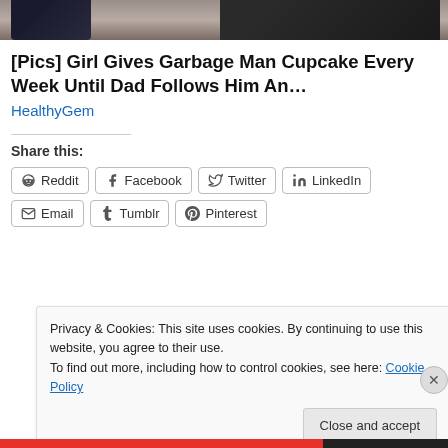[Figure (photo): Cropped photo of two people, partially visible at top of page]
[Pics] Girl Gives Garbage Man Cupcake Every Week Until Dad Follows Him An…
HealthyGem
Share this:
Reddit  Facebook  Twitter  LinkedIn  Email  Tumblr  Pinterest
Privacy & Cookies: This site uses cookies. By continuing to use this website, you agree to their use.
To find out more, including how to control cookies, see here: Cookie Policy
Close and accept